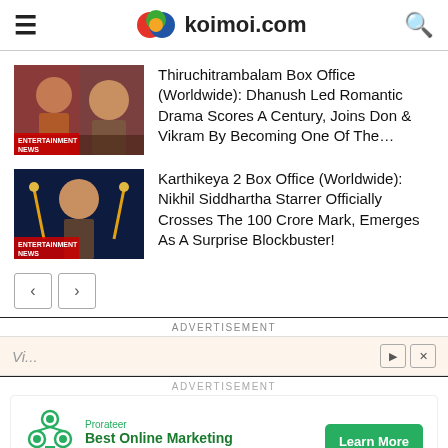koimoi.com
[Figure (photo): Thiruchitrambalam movie still thumbnail with ENTERTAINMENT NEWS badge]
Thiruchitrambalam Box Office (Worldwide): Dhanush Led Romantic Drama Scores A Century, Joins Don & Vikram By Becoming One Of The…
[Figure (photo): Karthikeya 2 movie still thumbnail with ENTERTAINMENT NEWS badge]
Karthikeya 2 Box Office (Worldwide): Nikhil Siddhartha Starrer Officially Crosses The 100 Crore Mark, Emerges As A Surprise Blockbuster!
ADVERTISEMENT
ADVERTISEMENT
[Figure (infographic): Prorateer Best Online Marketing Programs ad with Learn More button]